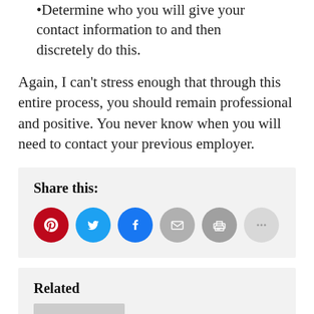•Determine who you will give your contact information to and then discretely do this.
Again, I can't stress enough that through this entire process, you should remain professional and positive. You never know when you will need to contact your previous employer.
[Figure (infographic): Share this: section with social media icon buttons for Pinterest (red), Twitter (blue), Facebook (blue), Email (grey), Print (grey), and a light grey more button.]
Related